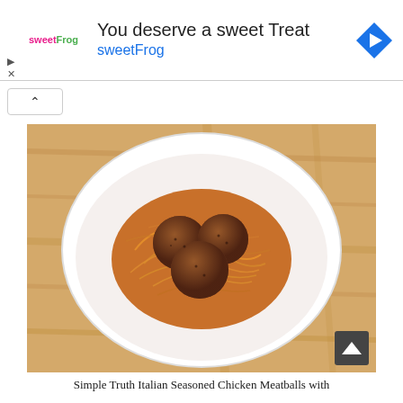[Figure (advertisement): sweetFrog advertisement banner with logo, headline 'You deserve a sweet Treat', brand name 'sweetFrog', and a blue diamond navigation icon]
[Figure (photo): Overhead view of a white bowl containing spaghetti with tomato sauce and three chicken meatballs on a wooden butcher block table]
Simple Truth Italian Seasoned Chicken Meatballs with